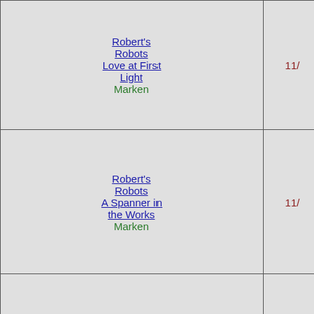| Series / Book / Publisher | Date |
| --- | --- |
| Robert's Robots
Love at First Light
Marken | 11/... |
| Robert's Robots
A Spanner in the Works
Marken | 11/... |
| Robert's Robots
Dial C for Chaos
Marken | 12/... |
| Robert's Robots
A Long, Cold Sommerby
Marken | 12/... |
| Robert's Robots
Kill or Cure
Marken | 12/... |
| Robert's Robots
... |  |